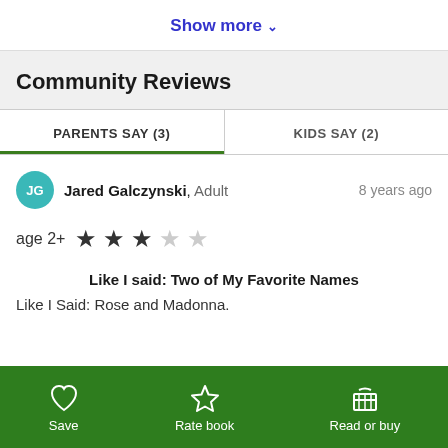Show more ∨
Community Reviews
PARENTS SAY (3)
KIDS SAY (2)
Jared Galczynski, Adult    8 years ago
age 2+  ★★★☆☆
Like I said: Two of My Favorite Names
Like I Said: Rose and Madonna.
Save   Rate book   Read or buy